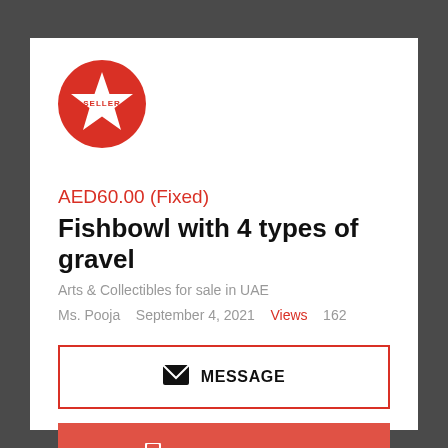[Figure (logo): Red circle with a white star badge and text SELLER inside]
AED60.00 (Fixed)
Fishbowl with 4 types of gravel
Arts & Collectibles for sale in UAE
Ms. Pooja   September 4, 2021   Views   162
MESSAGE
CLICK TO VIEW